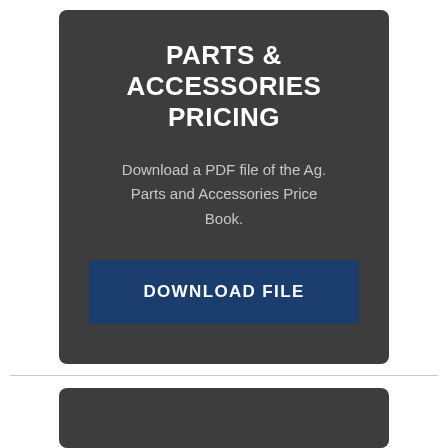PARTS & ACCESSORIES PRICING
Download a PDF file of the Ag. Parts and Accessories Price Book.
DOWNLOAD FILE
[Figure (other): Bottom of a dark gray card, partially visible at the bottom of the page]